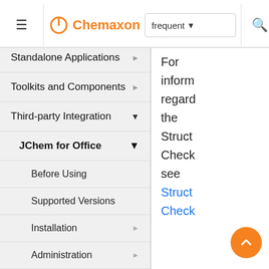Chemaxon — frequent
Standalone Applications
Toolkits and Components
Third-party Integration
JChem for Office
Before Using
Supported Versions
Installation
Administration
Diagnostic Tool
For inform regard the Struct Check see Struct Check